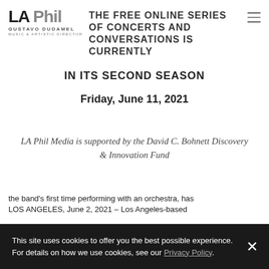LA Phil / Gustavo Dudamel, Music & Artistic Director
THE FREE ONLINE SERIES OF CONCERTS AND CONVERSATIONS IS CURRENTLY IN ITS SECOND SEASON
Friday, June 11, 2021
LA Phil Media is supported by the David C. Bohnett Discovery & Innovation Fund
LOS ANGELES, June 2, 2021 – Los Angeles-based the band's first time performing with an orchestra, has
This site uses cookies to offer you the best possible experience. For details on how we use cookies, see our Privacy Policy.